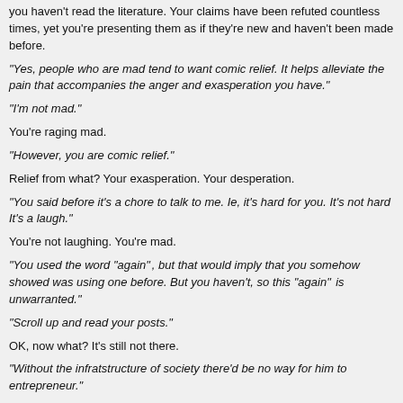You haven't read the literature. Your claims have been refuted countless times, yet you're presenting them as if they're new and haven't been made before.
“Yes, people who are mad tend to want comic relief. It helps alleviate the pain that accompanies the anger and exasperation you have.”
“I’m not mad.”
You're raging mad.
“However, you are comic relief.”
Relief from what? Your exasperation. Your desperation.
“You said before it’s a chore to talk to me. Ie, it’s hard for you. It’s not hard for me. It’s a laugh.”
You're not laughing. You're mad.
“You used the word “again” , but that would imply that you somehow showed it. He was using one before. But you haven’t, so this “again”  is unwarranted.”
“Scroll up and read your posts.”
OK, now what? It’s still not there.
“Without the infratstructure of society there’d be no way for him to be an entrepreneur.”
Nope. Without taxation, there can be no infrastructure. Infrastructure isn’t costless. The state doesn’t produce wealth. The state depends on those who make up society in the division of labor.